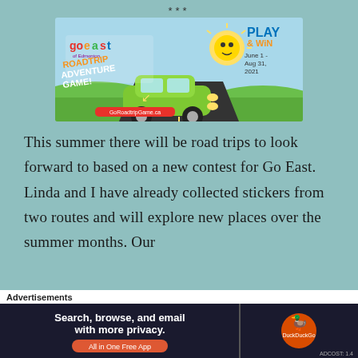***
[Figure (illustration): Go East Edmonton Roadtrip Adventure Game advertisement banner. Shows a green cartoon car on a road trip with a sun character. Text reads: go east Edmonton ROADTRIP ADVENTURE GAME!, PLAY & WIN June 1 - Aug 31, 2021, GoRoadtripGame.ca]
This summer there will be road trips to look forward to based on a new contest for Go East. Linda and I have already collected stickers from two routes and will explore new places over the summer months. Our
Advertisements
[Figure (screenshot): DuckDuckGo advertisement banner. Left side dark background with text: Search, browse, and email with more privacy. All in One Free App. Right side shows DuckDuckGo logo on dark background.]